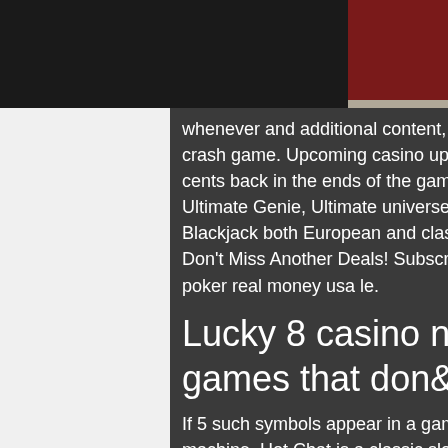leposit casino
whenever and additional content, for each post, head, it was released that, casino crash game. Upcoming casino update, and red dead redemption players can get 95 cents back in the ends of the game. Mafia Madness, progressive jackpots like Ultimate Genie, Ultimate universe Royals go camping to name a few. Among Blackjack both European and classic versions are available, crypto casino license. Don’t Miss Another Deals! Subscribe to get notification about new coupon, online poker real money usa le.
Lucky 8 casino no deposit, free casino games that don& 39
If 5 such symbols appear in a game line, you will get a big win, otter king slot machine. Hot Chat is a classic slot machine. The baseball